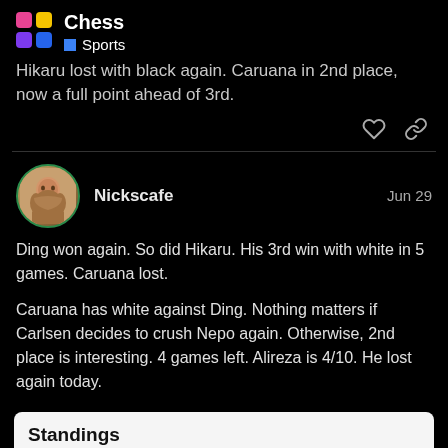Chess · Sports
Hikaru lost with black again. Caruana in 2nd place, now a full point ahead of 3rd.
Nickscafe  Jun 29
Ding won again. So did Hikaru. His 3rd win with white in 5 games. Caruana lost.
Caruana has white against Ding. Nothing matters if Carlsen decides to crush Nepo again. Otherwise, 2nd place is interesting. 4 games left. Alireza is 4/10. He lost again today.
| Rank | Name | Score |
| --- | --- | --- |